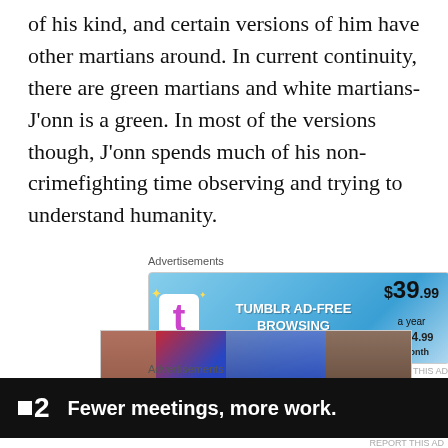of his kind, and certain versions of him have other martians around. In current continuity, there are green martians and white martians- J'onn is a green. In most of the versions though, J'onn spends much of his non-crimefighting time observing and trying to understand humanity.
Advertisements
[Figure (other): Tumblr Ad-Free Browsing advertisement banner: $39.99 a year or $4.99 a month]
[Figure (photo): Comic book style image showing a superhero figure flying over city buildings]
Advertisements
[Figure (other): Friday app advertisement on black background: square icon, '2', 'Fewer meetings, more work.']